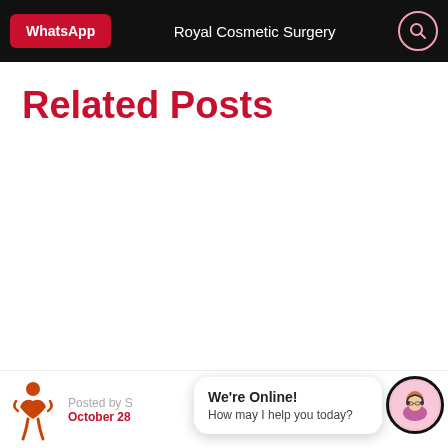WhatsApp  Royal Cosmetic Surgery
Related Posts
Posted by S  October 28
We're Online! How may I help you today?